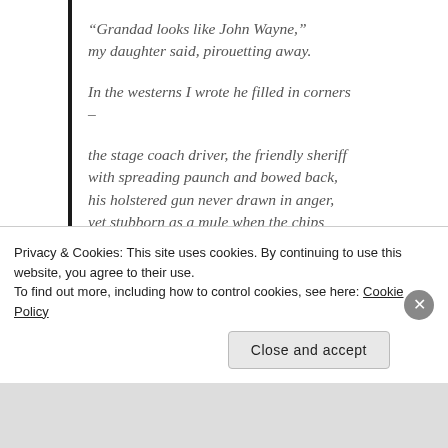“Grandad looks like John Wayne,” my daughter said, pirouetting away.

In the westerns I wrote he filled in corners –

the stage coach driver, the friendly sheriff with spreading paunch and bowed back, his holstered gun never drawn in anger, yet stubborn as a mule when the chips were down.
Privacy & Cookies: This site uses cookies. By continuing to use this website, you agree to their use.
To find out more, including how to control cookies, see here: Cookie Policy